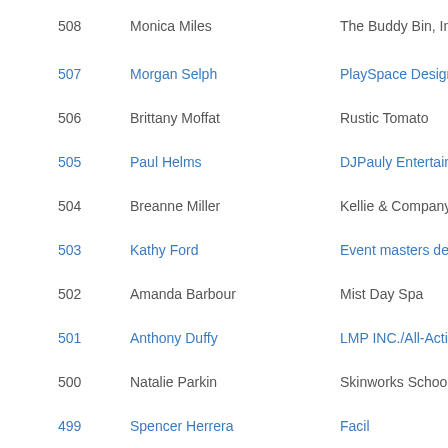| # | Name | Company |
| --- | --- | --- |
| 508 | Monica Miles | The Buddy Bin, Inc |
| 507 | Morgan Selph | PlaySpace Designs |
| 506 | Brittany Moffat | Rustic Tomato |
| 505 | Paul Helms | DJPauly Entertainm |
| 504 | Breanne Miller | Kellie & Company S |
| 503 | Kathy Ford | Event masters dec |
| 502 | Amanda Barbour | Mist Day Spa |
| 501 | Anthony Duffy | LMP INC./All-Actions |
| 500 | Natalie Parkin | Skinworks School o |
| 499 | Spencer Herrera | Facil... |